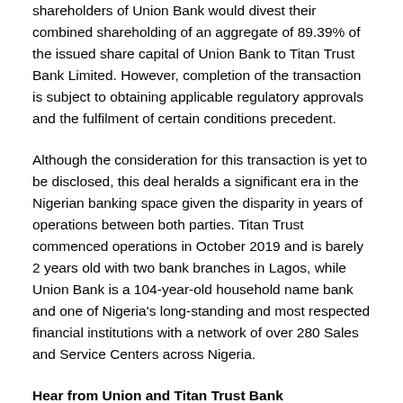shareholders of Union Bank would divest their combined shareholding of an aggregate of 89.39% of the issued share capital of Union Bank to Titan Trust Bank Limited. However, completion of the transaction is subject to obtaining applicable regulatory approvals and the fulfilment of certain conditions precedent.
Although the consideration for this transaction is yet to be disclosed, this deal heralds a significant era in the Nigerian banking space given the disparity in years of operations between both parties. Titan Trust commenced operations in October 2019 and is barely 2 years old with two bank branches in Lagos, while Union Bank is a 104-year-old household name bank and one of Nigeria's long-standing and most respected financial institutions with a network of over 280 Sales and Service Centers across Nigeria.
Hear from Union and Titan Trust Bank